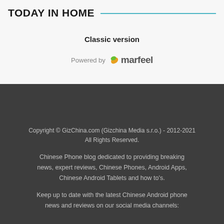TODAY IN HOME
Classic version
[Figure (logo): Powered by marfeel logo with orange/green leaf icon]
Copyright © GizChina.com (Gizchina Media s.r.o.) - 2012-2021 All Rights Reserved.
Chinese Phone blog dedicated to providing breaking news, expert reviews, Chinese Phones, Android Apps, Chinese Android Tablets and how to's.
Keep up to date with the latest Chinese Android phone news and reviews on our social media channels: